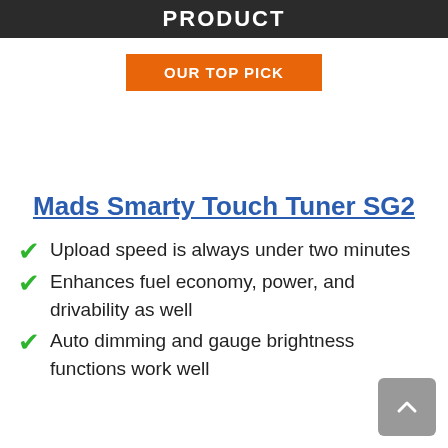PRODUCT
OUR TOP PICK
Mads Smarty Touch Tuner SG2
Upload speed is always under two minutes
Enhances fuel economy, power, and drivability as well
Auto dimming and gauge brightness functions work well